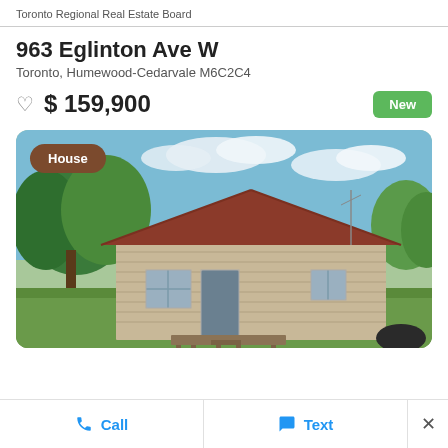Toronto Regional Real Estate Board
963 Eglinton Ave W
Toronto, Humewood-Cedarvale M6C2C4
$ 159,900  New
[Figure (photo): Exterior photo of a small house with red metal roof and beige horizontal siding, wood deck steps, surrounded by green lawn and trees under a blue sky with clouds. A 'House' badge overlays the top-left corner.]